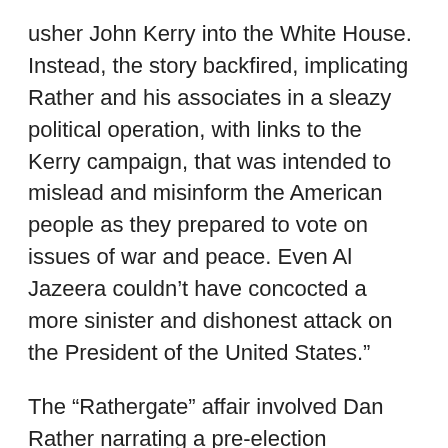usher John Kerry into the White House. Instead, the story backfired, implicating Rather and his associates in a sleazy political operation, with links to the Kerry campaign, that was intended to mislead and misinform the American people as they prepared to vote on issues of war and peace. Even Al Jazeera couldn’t have concocted a more sinister and dishonest attack on the President of the United States.”
The “Rathergate” affair involved Dan Rather narrating a pre-election September 8 CBS “60 Minutes” story, based on forged documents, charging that President Bush not only used connections to join the Texas Air National Guard to avoid service in the Vietnam War, but didn’t fulfill the terms of his Guard service…